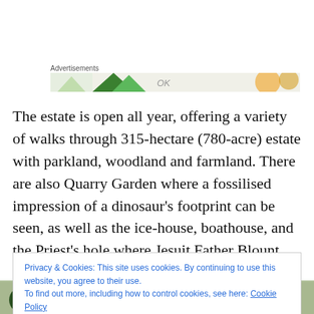[Figure (other): Advertisement banner with colorful triangles and circular shapes on a light background, with text 'Advertisements' label above it]
The estate is open all year, offering a variety of walks through 315-hectare (780-acre) estate with parkland, woodland and farmland. There are also Quarry Garden where a fossilised impression of a dinosaur's footprint can be seen, as well as the ice-house, boathouse, and the Priest's hole where Jesuit Father Blount was hidden in the
Privacy & Cookies: This site uses cookies. By continuing to use this website, you agree to their use.
To find out more, including how to control cookies, see here: Cookie Policy
Close and accept
[Figure (photo): Bottom portion of a photograph showing trees and a building exterior with a lamp post]